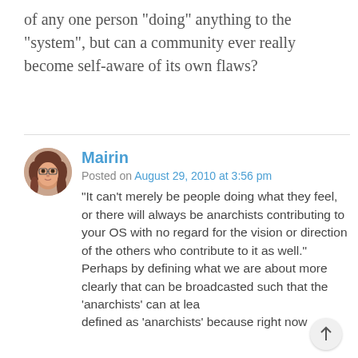of any one person "doing" anything to the "system", but can a community ever really become self-aware of its own flaws?
Mairin
Posted on August 29, 2010 at 3:56 pm
"It can't merely be people doing what they feel, or there will always be anarchists contributing to your OS with no regard for the vision or direction of the others who contribute to it as well."
Perhaps by defining what we are about more clearly that can be broadcasted such that the 'anarchists' can at lea defined as 'anarchists' because right now